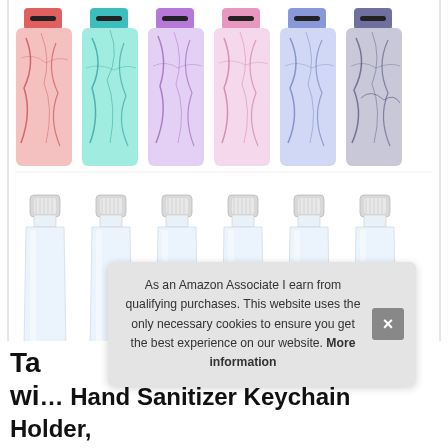[Figure (photo): Six colorful marble-patterned neoprene hand sanitizer keychain holders (red, teal, purple, pink, blue, dark purple/grey) arranged side by side, each with a keyring tab on top and a slot for a small bottle. Below them, six clear plastic travel-size hand sanitizer bottles with flip caps, arranged side by side.]
As an Amazon Associate I earn from qualifying purchases. This website uses the only necessary cookies to ensure you get the best experience on our website. More information
Ta... wi... Hand Sanitizer Keychain Holder,